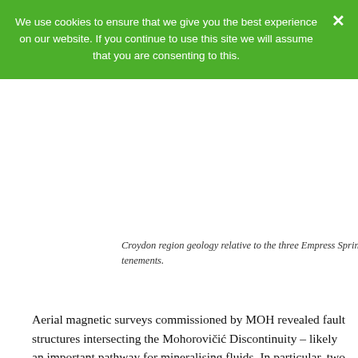We use cookies to ensure that we give you the best experience on our website. If you continue to use this site we will assume that you are consenting to this.
Croydon region geology relative to the three Empress Springs tenements.
Aerial magnetic surveys commissioned by MOH revealed fault structures intersecting the Mohorovičić Discontinuity – likely an important pathway for mineralising fluids. In particular, two areas in north-west trending fault zones were identified using EM, and these show folding and dyke dislocation, possibly indicative of dilations the could concentrate such fluids. In addition, Avalon Minerals Ltd. obtained geochemical soil analyses in 2007 that show conincident antimony, bismuth and gold anomalies over certain intersecting and gravitationally anomalous